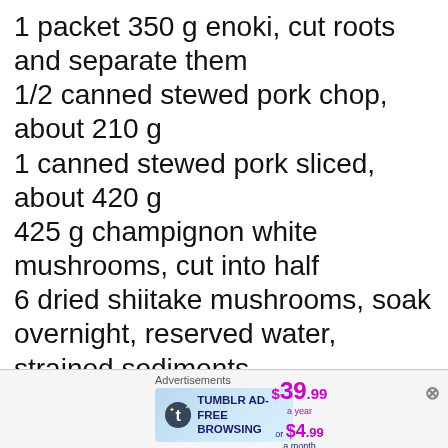1 packet 350 g enoki, cut roots and separate them
1/2 canned stewed pork chop, about 210 g
1 canned stewed pork sliced, about 420 g
425 g champignon white mushrooms, cut into half
6 dried shiitake mushrooms, soak overnight, reserved water, strained sediments
3 Tbs oil
[Figure (screenshot): Tumblr Ad-Free Browsing advertisement banner: $39.99 a year or $4.99 a month]